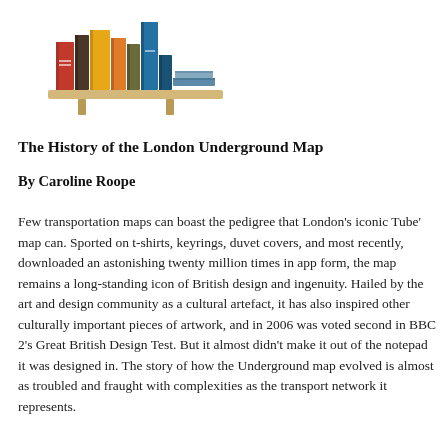[Figure (illustration): Illustration of a wooden bookshelf with several colorful books standing upright and a couple of books lying flat, on a light wooden shelf with two support pegs underneath.]
The History of the London Underground Map
By Caroline Roope
Few transportation maps can boast the pedigree that London's iconic Tube' map can. Sported on t-shirts, keyrings, duvet covers, and most recently, downloaded an astonishing twenty million times in app form, the map remains a long-standing icon of British design and ingenuity. Hailed by the art and design community as a cultural artefact, it has also inspired other culturally important pieces of artwork, and in 2006 was voted second in BBC 2's Great British Design Test. But it almost didn't make it out of the notepad it was designed in. The story of how the Underground map evolved is almost as troubled and fraught with complexities as the transport network it represents.